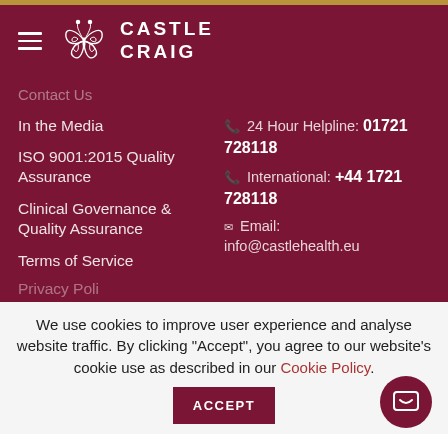[Figure (logo): Castle Craig logo with butterfly emblem and hamburger menu icon on dark red background]
Contact Us
In the Media
ISO 9001:2015 Quality Assurance
Clinical Governance & Quality Assurance
Terms of Service
24 Hour Helpline: 01721 728118
International: +44 1721 728118
Email: info@castlehealth.eu
We use cookies to improve user experience and analyse website traffic. By clicking "Accept", you agree to our website's cookie use as described in our Cookie Policy.
ACCEPT